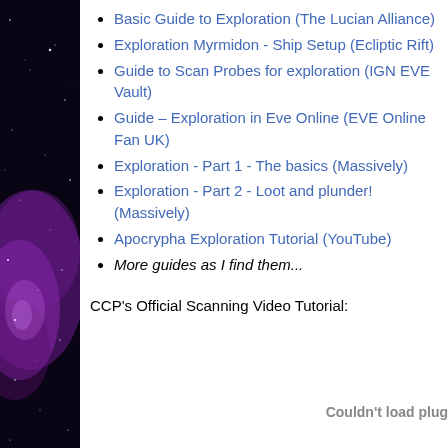Basic Guide to Exploration (The Lucian Alliance)
Exploration Myrmidon - Ship Setup (Ecliptic Rift)
Guide to Scan Probes for exploration (IGN EVE Vault)
Guide – Exploration in Eve Online (EVE Online Fan UK)
Exploration - Part 1 - The basics (Massively)
Exploration - Part 2 - Loot and plunder! (Massively)
Apocrypha Exploration Tutorial (YouTube)
More guides as I find them...
CCP's Official Scanning Video Tutorial:
Couldn't load plug